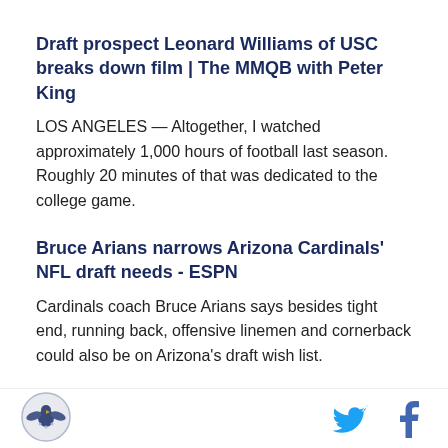Draft prospect Leonard Williams of USC breaks down film | The MMQB with Peter King
LOS ANGELES — Altogether, I watched approximately 1,000 hours of football last season. Roughly 20 minutes of that was dedicated to the college game.
Bruce Arians narrows Arizona Cardinals' NFL draft needs - ESPN
Cardinals coach Bruce Arians says besides tight end, running back, offensive linemen and cornerback could also be on Arizona's draft wish list.
[Figure (logo): Shield/emblem logo in bottom left corner]